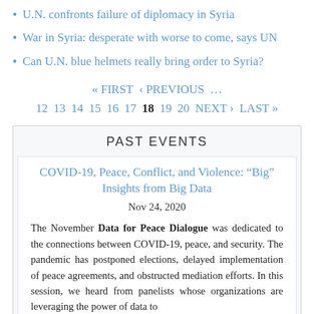U.N. confronts failure of diplomacy in Syria
War in Syria: desperate with worse to come, says UN
Can U.N. blue helmets really bring order to Syria?
« FIRST  ‹ PREVIOUS  …  12  13  14  15  16  17  18  19  20  NEXT ›  LAST »
PAST EVENTS
COVID-19, Peace, Conflict, and Violence: “Big” Insights from Big Data
Nov 24, 2020
The November Data for Peace Dialogue was dedicated to the connections between COVID-19, peace, and security. The pandemic has postponed elections, delayed implementation of peace agreements, and obstructed mediation efforts. In this session, we heard from panelists whose organizations are leveraging the power of data to